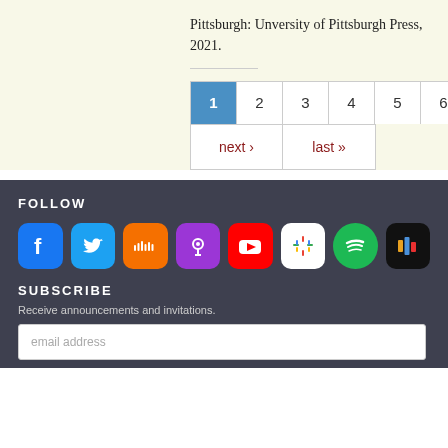Pittsburgh: Unversity of Pittsburgh Press, 2021.
1 2 3 4 5 6 7 next › last »
FOLLOW
[Figure (infographic): Row of social media icons: Facebook, Twitter, SoundCloud, Apple Podcasts, YouTube, Google Podcasts, Spotify, Castbox]
SUBSCRIBE
Receive announcements and invitations.
email address